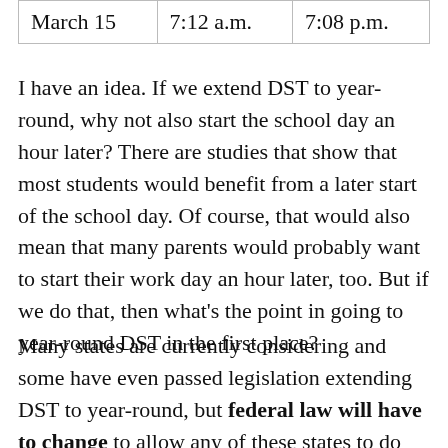| March 15 | 7:12 a.m. | 7:08 p.m. |
I have an idea. If we extend DST to year-round, why not also start the school day an hour later? There are studies that show that most students would benefit from a later start of the school day. Of course, that would also mean that many parents would probably want to start their work day an hour later, too. But if we do that, then what's the point in going to year-round DST in the first place?
Many states are currently considering and some have even passed legislation extending DST to year-round, but federal law will have to change to allow any of these states to do this.